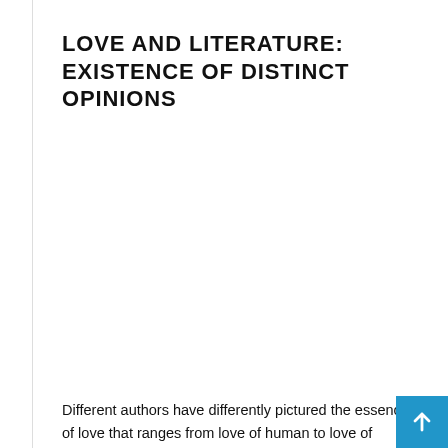LOVE AND LITERATURE: EXISTENCE OF DISTINCT OPINIONS
Different authors have differently pictured the essence of love that ranges from love of human to love of